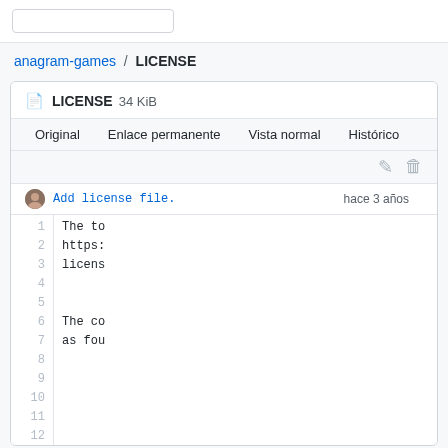anagram-games / LICENSE
LICENSE 34 KiB
Original   Enlace permanente   Vista normal   Histórico
Add license file.   hace 3 años
1 The to
2 https:
3 licens
4
5
6 The co
7 as fou
8
9
10
11
12